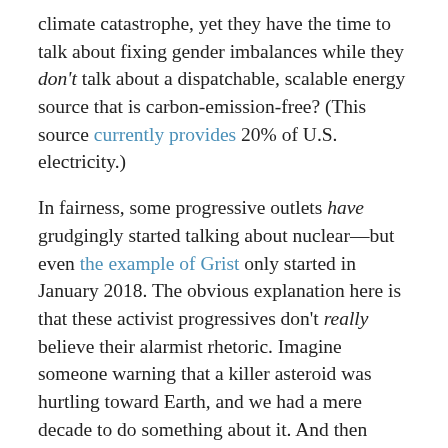climate catastrophe, yet they have the time to talk about fixing gender imbalances while they don't talk about a dispatchable, scalable energy source that is carbon-emission-free? (This source currently provides 20% of U.S. electricity.)
In fairness, some progressive outlets have grudgingly started talking about nuclear—but even the example of Grist only started in January 2018. The obvious explanation here is that these activist progressives don't really believe their alarmist rhetoric. Imagine someone warning that a killer asteroid was hurtling toward Earth, and we had a mere decade to do something about it. And then these activists spent their time on funding medical clinics to treat society's downtrodden when the asteroid smashed into the planet, killing billions of people.
Some puzzled onlookers might timidly ask, "Instead of worrying about demographics, shouldn't we be building lasers or missiles to knock the asteroid off course?" But the activists would explain, "No, promoting heavy weaponry would interfere with